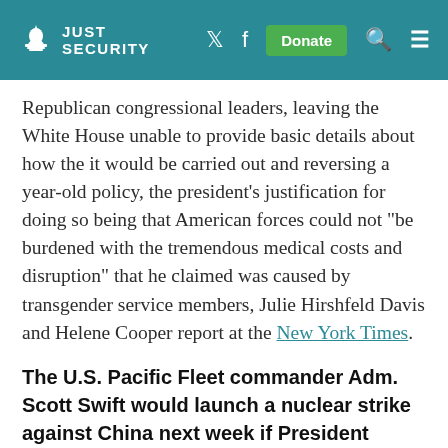JUST SECURITY
Republican congressional leaders, leaving the White House unable to provide basic details about how the it would be carried out and reversing a year-old policy, the president’s justification for doing so being that American forces could not “be burdened with the tremendous medical costs and disruption” that he claimed was caused by transgender service members, Julie Hirshfeld Davis and Helene Cooper report at the New York Times.
The U.S. Pacific Fleet commander Adm. Scott Swift would launch a nuclear strike against China next week if President Trump